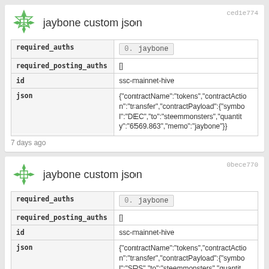jaybone custom json
| field | value |
| --- | --- |
| required_auths | 0.  jaybone |
| required_posting_auths | [] |
| id | ssc-mainnet-hive |
| json | {"contractName":"tokens","contractAction":"transfer","contractPayload":{"symbol":"DEC","to":"steemmonsters","quantity":"6569.863","memo":"jaybone"}} |
7 days ago
jaybone custom json
| field | value |
| --- | --- |
| required_auths | 0.  jaybone |
| required_posting_auths | [] |
| id | ssc-mainnet-hive |
| json | {"contractName":"tokens","contractAction":"transfer","contractPayload":{"symbol":"SPS","to":"steemmonsters","quantity":"0.00204232","memo":"jaybone"}} |
7 days ago